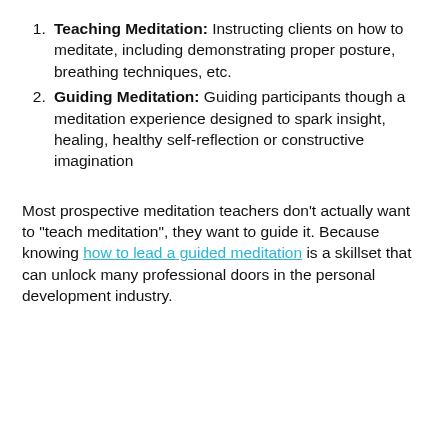Teaching Meditation: Instructing clients on how to meditate, including demonstrating proper posture, breathing techniques, etc.
Guiding Meditation: Guiding participants though a meditation experience designed to spark insight, healing, healthy self-reflection or constructive imagination
Most prospective meditation teachers don't actually want to "teach meditation", they want to guide it. Because knowing how to lead a guided meditation is a skillset that can unlock many professional doors in the personal development industry.